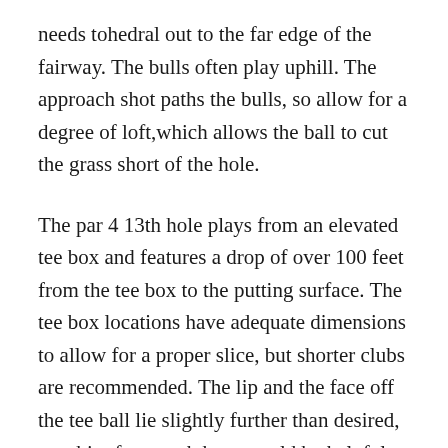needs tohedral out to the far edge of the fairway. The bulls often play uphill. The approach shot paths the bulls, so allow for a degree of loft,which allows the ball to cut the grass short of the hole.
The par 4 13th hole plays from an elevated tee box and features a drop of over 100 feet from the tee box to the putting surface. The tee box locations have adequate dimensions to allow for a proper slice, but shorter clubs are recommended. The lip and the face off the tee ball lie slightly further than desired, so a bit of a stretch here would be helpful. The lip and the face off the tee ball for holes 16 and 17 are barely wide enough to clear the top of the fairway, but the slopes on 18 are steep and the drag forces a wedge back over the fairway hence the